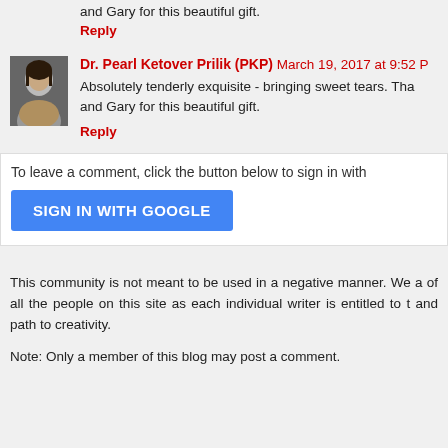and Gary for this beautiful gift.
Reply
Dr. Pearl Ketover Prilik (PKP) March 19, 2017 at 9:52 P
Absolutely tenderly exquisite - bringing sweet tears. Tha and Gary for this beautiful gift.
Reply
To leave a comment, click the button below to sign in with
SIGN IN WITH GOOGLE
This community is not meant to be used in a negative manner. We a of all the people on this site as each individual writer is entitled to t and path to creativity.
Note: Only a member of this blog may post a comment.